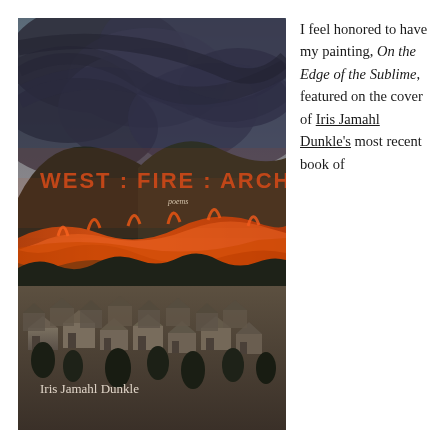[Figure (illustration): Book cover of 'West : Fire : Archive' by Iris Jamahl Dunkle. The cover shows a dramatic painting of a wildfire on a hillside above a suburban neighborhood. Dark smoke fills the sky, orange and red flames burn across the hillside vegetation, and houses are visible in the lower foreground. The title 'WEST : FIRE : ARCHIVE' appears in orange/rust colored capital letters across the upper portion of the cover, with 'poems' below in smaller text. The author name 'Iris Jamahl Dunkle' appears in white text in the lower left area.]
I feel honored to have my painting, On the Edge of the Sublime, featured on the cover of Iris Jamahl Dunkle's most recent book of